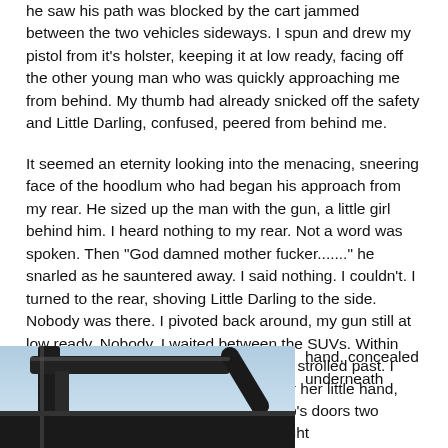he saw his path was blocked by the cart jammed between the two vehicles sideways. I spun and drew my pistol from it's holster, keeping it at low ready, facing off the other young man who was quickly approaching me from behind. My thumb had already snicked off the safety and Little Darling, confused, peered from behind me.
It seemed an eternity looking into the menacing, sneering face of the hoodlum who had began his approach from my rear. He sized up the man with the gun, a little girl behind him. I heard nothing to my rear. Not a word was spoken. Then "God damned mother fucker......." he snarled as he sauntered away. I said nothing. I couldn't. I turned to the rear, shoving Little Darling to the side. Nobody was there. I pivoted back around, my gun still at low ready. Nobody. I waited between the SUVs. Within seconds, a mother with her child in tow strolled past. I took my daughter's sack, as well as her her little hand, and used my remote to unlock my Jeep's doors two vehicles away. I held my pistol in my right
[Figure (photo): Dark vehicle/car exterior, possibly a Jeep, photographed from a low angle showing a frame or roll bar structure against a blue sky.]
hand, concealed underneath